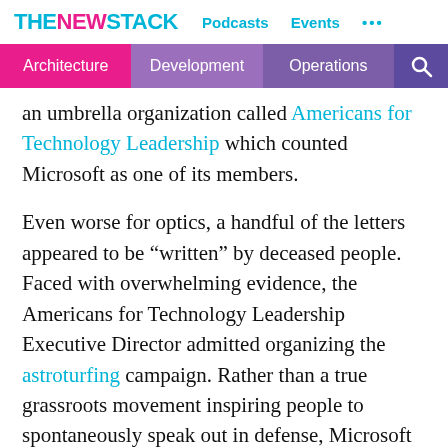THE NEW STACK  Podcasts  Events  ...
Architecture  Development  Operations
an umbrella organization called Americans for Technology Leadership which counted Microsoft as one of its members.
Even worse for optics, a handful of the letters appeared to be “written” by deceased people. Faced with overwhelming evidence, the Americans for Technology Leadership Executive Director admitted organizing the astroturfing campaign. Rather than a true grassroots movement inspiring people to spontaneously speak out in defense, Microsoft and its allies attempted to control public sentiment and the direction of the case through less than pure